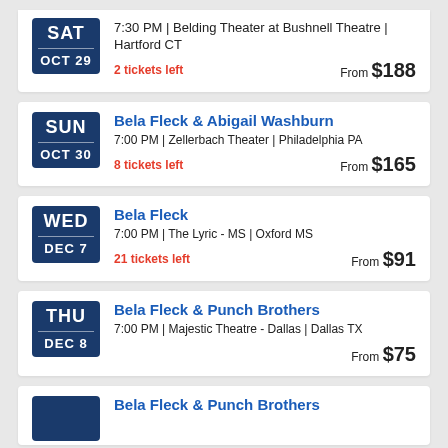SAT OCT 29 | 7:30 PM | Belding Theater at Bushnell Theatre | Hartford CT | 2 tickets left | From $188
SUN OCT 30 | Bela Fleck & Abigail Washburn | 7:00 PM | Zellerbach Theater | Philadelphia PA | 8 tickets left | From $165
WED DEC 7 | Bela Fleck | 7:00 PM | The Lyric - MS | Oxford MS | 21 tickets left | From $91
THU DEC 8 | Bela Fleck & Punch Brothers | 7:00 PM | Majestic Theatre - Dallas | Dallas TX | From $75
Bela Fleck & Punch Brothers (partial)